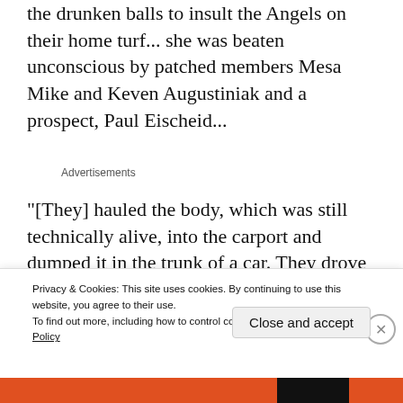the drunken balls to insult the Angels on their home turf... she was beaten unconscious by patched members Mesa Mike and Keven Augustiniak and a prospect, Paul Eischeid...
Advertisements
“[They] hauled the body, which was still technically alive, into the carport and dumped it in the trunk of a car. They drove Garcia out to
Privacy & Cookies: This site uses cookies. By continuing to use this website, you agree to their use.
To find out more, including how to control cookies, see here: Cookie Policy
Close and accept